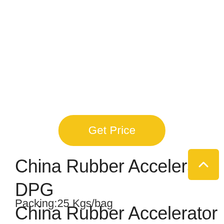[Figure (other): Get Price yellow rounded button]
China Rubber Accelerator DPG
China Rubber Accelerator DPG
Packing:25 Kgs/bag